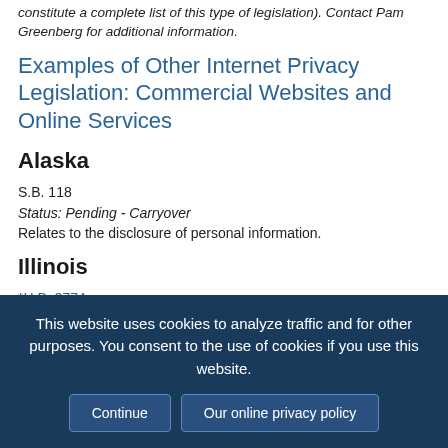constitute a complete list of this type of legislation). Contact Pam Greenberg for additional information.
Examples of Other Internet Privacy Legislation: Commercial Websites and Online Services
Alaska
S.B. 118
Status: Pending - Carryover
Relates to the disclosure of personal information.
Illinois
*H.B. 2774
Status: Pending
Creates the Right to Know Act; provides that an operator of
This website uses cookies to analyze traffic and for other purposes. You consent to the use of cookies if you use this website. Continue | Our online privacy policy